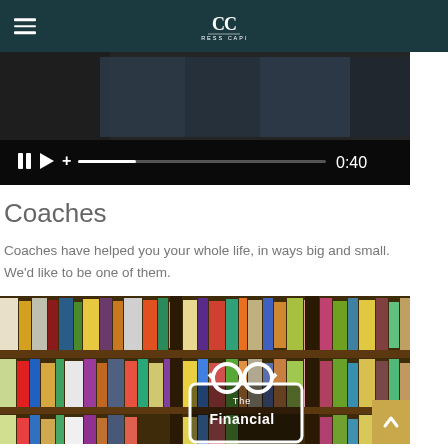Cypress Capital
[Figure (screenshot): Video player screenshot showing dark background with media controls bar including pause button, play button, volume control, progress bar, and timestamp showing 0:40]
Coaches
Coaches have helped you your whole life, in ways big and small. We'd like to be one of them.
[Figure (photo): Photo of a bookshelf filled with colorful books. Overlaid is a white rectangular logo/title card with glasses icon and text 'The Financial' visible at the bottom of the image. A gold scroll-to-top button appears in the bottom right corner.]